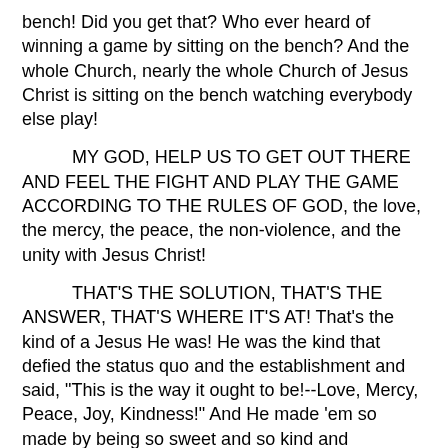bench! Did you get that? Who ever heard of winning a game by sitting on the bench? And the whole Church, nearly the whole Church of Jesus Christ is sitting on the bench watching everybody else play!
MY GOD, HELP US TO GET OUT THERE AND FEEL THE FIGHT AND PLAY THE GAME ACCORDING TO THE RULES OF GOD, the love, the mercy, the peace, the non-violence, and the unity with Jesus Christ!
THAT'S THE SOLUTION, THAT'S THE ANSWER, THAT'S WHERE IT'S AT! That's the kind of a Jesus He was! He was the kind that defied the status quo and the establishment and said, "This is the way it ought to be!--Love, Mercy, Peace, Joy, Kindness!" And He made 'em so made by being so sweet and so kind and